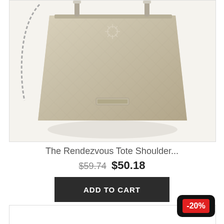[Figure (photo): A beige/tan tote shoulder bag with chain and strap detail, subtle diamond pattern texture, and a small silver logo plaque near the bottom center, photographed on white background.]
The Rendezvous Tote Shoulder...
$59.74 $50.18
ADD TO CART
[Figure (photo): Bottom of a second product card, partially visible.]
-20%